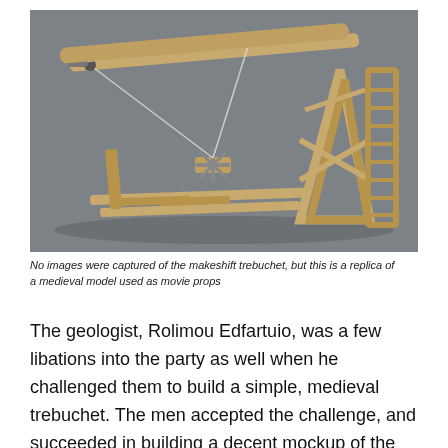[Figure (photo): A wooden trebuchet replica model photographed against a grey background. The device has a long throwing arm, rope and sling mechanism, a large wooden frame with diagonal bracing supports, and a counterweight box on the right side. It appears to be a detailed scale model made of light-colored wood.]
No images were captured of the makeshift trebuchet, but this is a replica of a medieval model used as movie props
The geologist, Rolimou Edfartuio, was a few libations into the party as well when he challenged them to build a simple, medieval trebuchet. The men accepted the challenge, and succeeded in building a decent mockup of the ancient war machine.